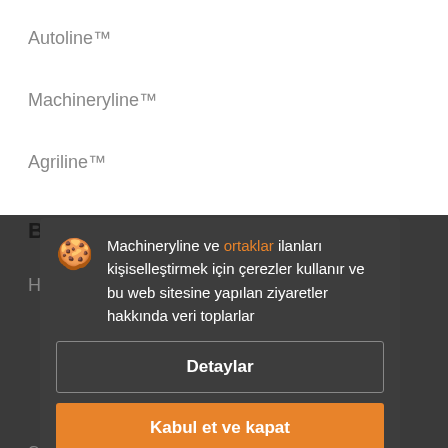Autoline™
Machineryline™
Agriline™
Bilgi
Hüküm ve Koşullar
Gizlilik politikası
Machineryline ve ortaklar ilanları kişiselleştirmek için çerezler kullanır ve bu web sitesine yapılan ziyaretler hakkında veri toplarlar
Detaylar
Kabul et ve kapat